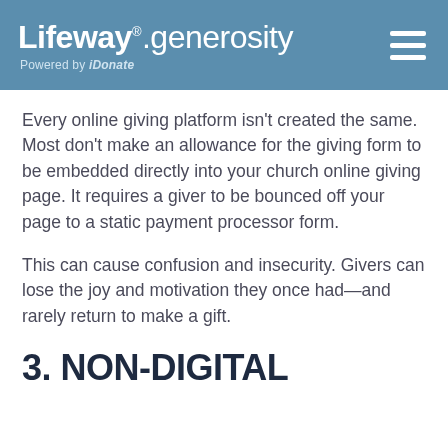Lifeway. generosity Powered by iDonate
Every online giving platform isn't created the same. Most don't make an allowance for the giving form to be embedded directly into your church online giving page. It requires a giver to be bounced off your page to a static payment processor form.
This can cause confusion and insecurity. Givers can lose the joy and motivation they once had—and rarely return to make a gift.
3. NON-DIGITAL